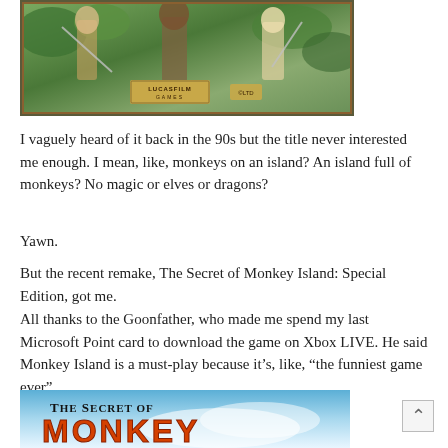[Figure (photo): Monkey Island game box art showing pirates and characters with Lucasfilm Games logo]
I vaguely heard of it back in the 90s but the title never interested me enough. I mean, like, monkeys on an island? An island full of monkeys? No magic or elves or dragons?
Yawn.
But the recent remake, The Secret of Monkey Island: Special Edition, got me.
All thanks to the Goonfather, who made me spend my last Microsoft Point card to download the game on Xbox LIVE. He said Monkey Island is a must-play because it’s, like, “the funniest game ever”.
[Figure (photo): The Secret of Monkey Island: Special Edition game title screen showing 'The Secret of' text and 'Monkey' in orange letters]